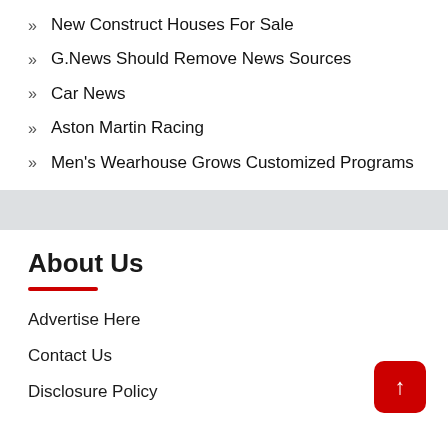New Construct Houses For Sale
G.News Should Remove News Sources
Car News
Aston Martin Racing
Men's Wearhouse Grows Customized Programs
About Us
Advertise Here
Contact Us
Disclosure Policy